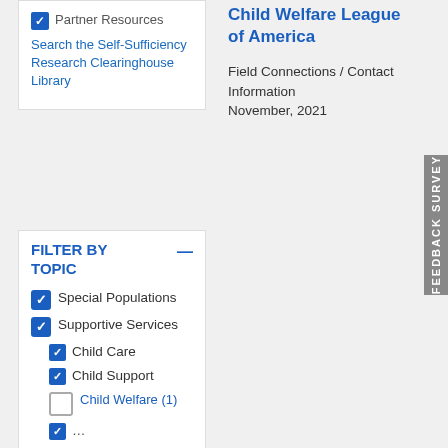Partner Resources
Search the Self-Sufficiency Research Clearinghouse Library
FILTER BY TOPIC
Special Populations (checked)
Supportive Services (checked)
Child Care (checked)
Child Support (checked)
Child Welfare (1) (unchecked)
Child Welfare League of America
Field Connections / Contact Information
November, 2021